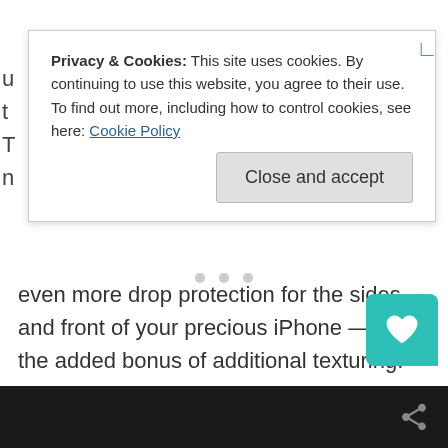even more drop protection for the sides and front of your precious iPhone — with the added bonus of additional texturing.
[Figure (screenshot): Cookie consent modal overlay with text: 'Privacy & Cookies: This site uses cookies. By continuing to use this website, you agree to their use. To find out more, including how to control cookies, see here: Cookie Policy' and a 'Close and accept' button.]
[Figure (other): Teal/cyan rounded square button with a heart icon in the bottom right area of the page.]